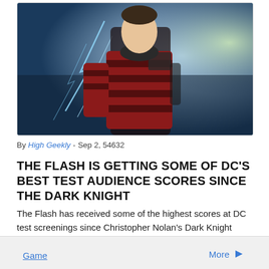[Figure (photo): A young man in a red and black plaid jacket with a dark hoodie, standing against a dramatic blue background with lightning effects — promotional photo for The Flash.]
By High Geekly - Sep 2, 54632
THE FLASH IS GETTING SOME OF DC'S BEST TEST AUDIENCE SCORES SINCE THE DARK KNIGHT
The Flash has received some of the highest scores at DC test screenings since Christopher Nolan's Dark Knight movies, according to...
Game  More →